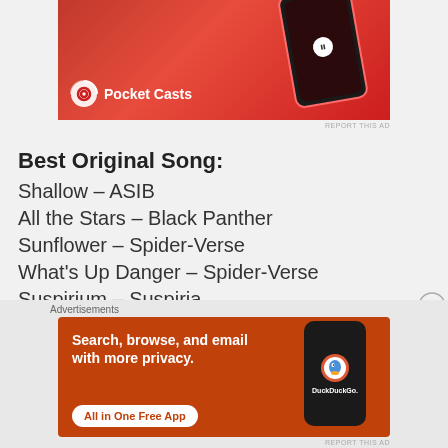[Figure (illustration): Pocket Casts advertisement banner showing a red smartphone with the app interface and Pocket Casts logo]
REPORT THIS AD
Best Original Song:
Shallow – ASIB
All the Stars – Black Panther
Sunflower – Spider-Verse
What's Up Danger – Spider-Verse
Suspirium – Suspiria
[Figure (illustration): DuckDuckGo advertisement banner with orange background, text 'Search, browse, and email with more privacy. All in One Free App' and a smartphone showing the DuckDuckGo app]
REPORT THIS AD